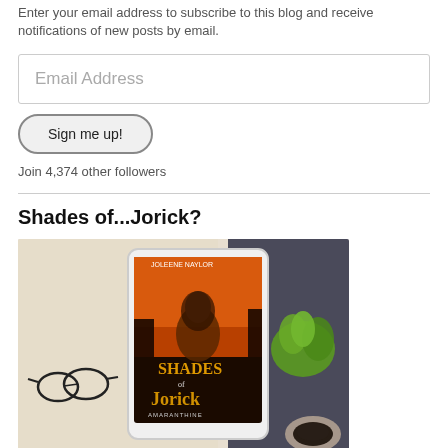Enter your email address to subscribe to this blog and receive notifications of new posts by email.
Email Address
Sign me up!
Join 4,374 other followers
Shades of...Jorick?
[Figure (photo): Photo of an e-reader tablet displaying the book cover 'Shades of Jorick' by Joleene Naylor (Amaranthine series), surrounded by a cream knit sweater, reading glasses, a green succulent plant, and a coffee cup on a dark background.]